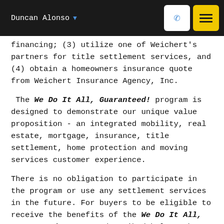Duncan Alonso
financing; (3) utilize one of Weichert's partners for title settlement services, and (4) obtain a homeowners insurance quote from Weichert Insurance Agency, Inc.
The We Do It All, Guaranteed! program is designed to demonstrate our unique value proposition - an integrated mobility, real estate, mortgage, insurance, title settlement, home protection and moving services customer experience.
There is no obligation to participate in the program or use any settlement services in the future. For buyers to be eligible to receive the benefits of the We Do It All, Guaranteed! program described below, they must satisfy all applicable conditions. Our All Under One Roof SM Customer Experience team of advisors are available for those buyers that elect to enroll for one or more of